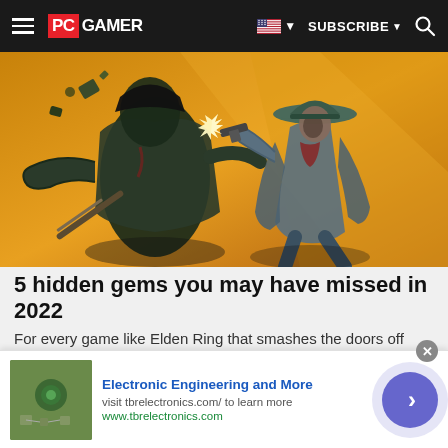PC GAMER | SUBSCRIBE | Search
[Figure (illustration): Comic-style illustration of a Western gunfight scene with two characters on an orange/yellow background. Left character is a dark, shadowy zombie-like figure being shot. Right character is a woman in a wide-brimmed hat firing a revolver with a muzzle flash star.]
5 hidden gems you may have missed in 2022
For every game like Elden Ring that smashes the doors off sales records and gets the gaming world abuzz, the...
PC Gamer
[Figure (screenshot): Advertisement for Electronic Engineering and More. Shows a small thumbnail image of electronics/circuit components. Text: 'Electronic Engineering and More', 'visit tbrelectronics.com/ to learn more', 'www.tbrelectronics.com'. Has a purple circular arrow button on the right.]